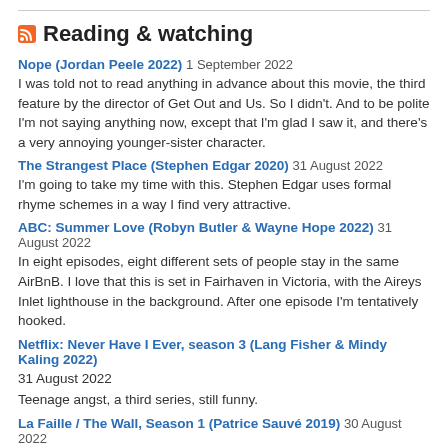Reading & watching
Nope (Jordan Peele 2022) 1 September 2022
I was told not to read anything in advance about this movie, the third feature by the director of Get Out and Us. So I didn't. And to be polite I'm not saying anything now, except that I'm glad I saw it, and there's a very annoying younger-sister character.
The Strangest Place (Stephen Edgar 2020) 31 August 2022
I'm going to take my time with this. Stephen Edgar uses formal rhyme schemes in a way I find very attractive.
ABC: Summer Love (Robyn Butler & Wayne Hope 2022) 31 August 2022
In eight episodes, eight different sets of people stay in the same AirBnB. I love that this is set in Fairhaven in Victoria, with the Aireys Inlet lighthouse in the background. After one episode I'm tentatively hooked.
Netflix: Never Have I Ever, season 3 (Lang Fisher & Mindy Kaling 2022) 31 August 2022
Teenage angst, a third series, still funny.
La Faille / The Wall, Season 1 (Patrice Sauvé 2019) 30 August 2022